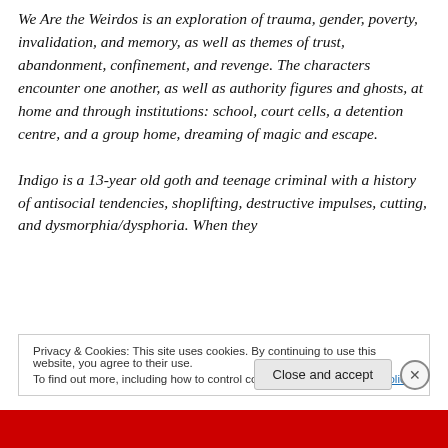We Are the Weirdos is an exploration of trauma, gender, poverty, invalidation, and memory, as well as themes of trust, abandonment, confinement, and revenge. The characters encounter one another, as well as authority figures and ghosts, at home and through institutions: school, court cells, a detention centre, and a group home, dreaming of magic and escape.

Indigo is a 13-year old goth and teenage criminal with a history of antisocial tendencies, shoplifting, destructive impulses, cutting, and dysmorphia/dysphoria. When they
Privacy & Cookies: This site uses cookies. By continuing to use this website, you agree to their use.
To find out more, including how to control cookies, see here: Cookie Policy